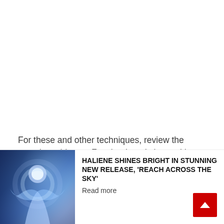For these and other techniques, review the complete video on Facebook and share with your producer friends. Keep on the look out for more Ableton Live tutorial videos
GRAB DJ JOUNCE'S TRACKS ON BEATPORT!
[Figure (photo): Photo of a glowing female figure with blue/white light effects against a dark blue starry background]
HALIENE SHINES BRIGHT IN STUNNING NEW RELEASE, 'REACH ACROSS THE SKY'
Read more